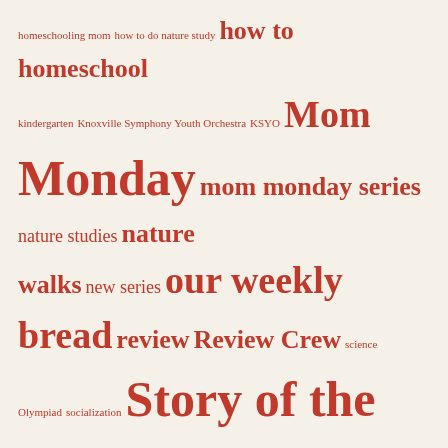[Figure (infographic): Tag cloud with terms related to homeschooling blog, rendered in various font sizes in red/coral color on cream background. Terms include: homeschooling mom, how to do nature study, how to homeschool, kindergarten, Knoxville Symphony Youth Orchestra, KSYO, Mom, Monday, mom monday series, nature studies, nature walks, new series, our weekly bread, review, Review Crew, science Olympiad, socialization, Story of the World, Story of the World review, story of the world volume 3, story sunday, susan wise bauer, teach children to bake, TeenPact, Thoughtful Thursday, Tuesday Tome, weekly inspiration for homeschooling moms, Wonderful Wednesday]
Copyright
© Adriana Zoder and Homeschool Ways, 2013-2019. Unauthorized use and/or duplication of this material without express and written permission from this blog's author and/or owner is strictly prohibited. Excerpts and links may be used, provided that full and clear credit is given to Adriana Zoder and Homeschool Ways with appropriate and...